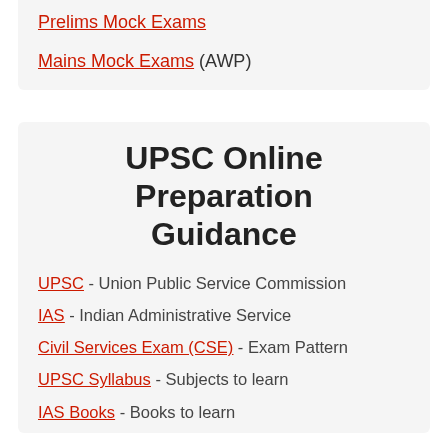Prelims Mock Exams
Mains Mock Exams (AWP)
UPSC Online Preparation Guidance
UPSC - Union Public Service Commission
IAS - Indian Administrative Service
Civil Services Exam (CSE) - Exam Pattern
UPSC Syllabus - Subjects to learn
IAS Books - Books to learn